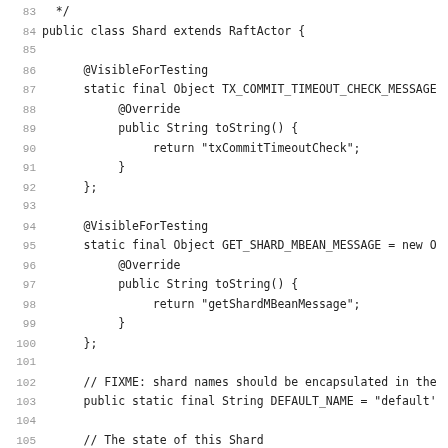[Figure (screenshot): Java source code snippet showing lines 83-114 of a Shard class extending RaftActor, with line numbers on the left and monospace code on the right. Contains Java class definition, @VisibleForTesting annotations, static final Object fields, toString() overrides, and private field declarations.]